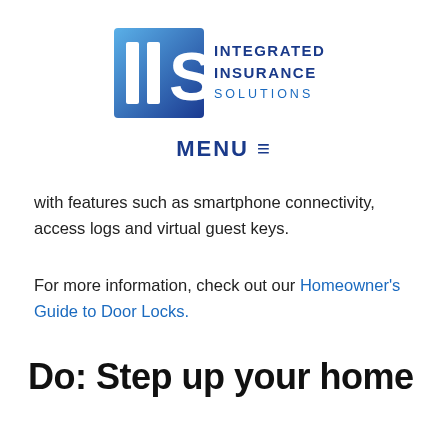[Figure (logo): Integrated Insurance Solutions (IIS) logo with blue gradient square containing bold white letters II and S, followed by text INTEGRATED INSURANCE SOLUTIONS in blue]
MENU ≡
with features such as smartphone connectivity, access logs and virtual guest keys.
For more information, check out our Homeowner's Guide to Door Locks.
Do: Step up your home